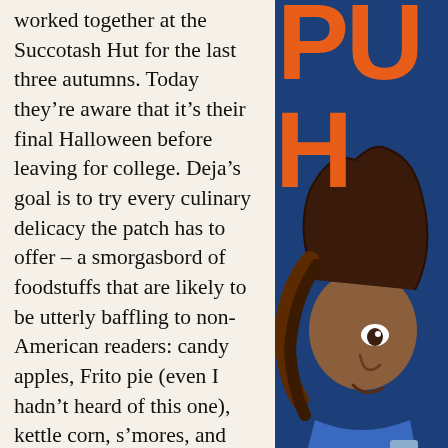worked together at the Succotash Hut for the last three autumns. Today they're aware that it's their final Halloween before leaving for college. Deja's goal is to try every culinary delicacy the patch has to offer – a smorgasbord of foodstuffs that are likely to be utterly baffling to non-American readers: candy apples, Frito pie (even I hadn't heard of this one), kettle corn, s'mores, and plenty of
[Figure (illustration): Book cover showing orange text 'PU' / 'H' on dark blue background with an illustrated character (young woman with braids) in the foreground]
Privacy & Cookies: This site uses cookies. By continuing to use this website, you agree to their use.
To find out more, including how to control cookies, see here: Cookie Policy